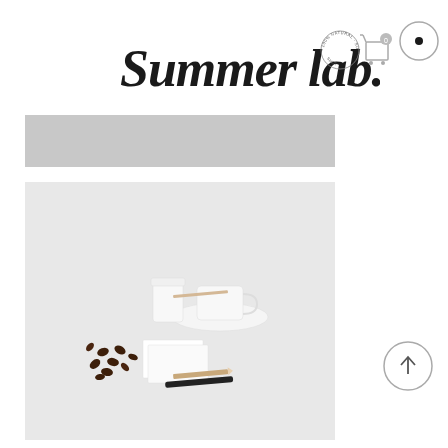[Figure (logo): Summer lab. handwritten script logo with circular badge reading 100% NATURAL SUPERFOOD SHOT]
[Figure (illustration): Shopping cart icon with badge showing 0]
[Figure (illustration): Circle icon with a dot in the center (menu or search button)]
[Figure (photo): Light gray horizontal banner/placeholder strip]
[Figure (photo): Minimalist flat lay photo on light gray background showing a white espresso cup on saucer, white takeaway cup, scattered coffee beans, white business cards, a pencil and dark marker]
[Figure (illustration): Circle icon with upward arrow (back to top button)]